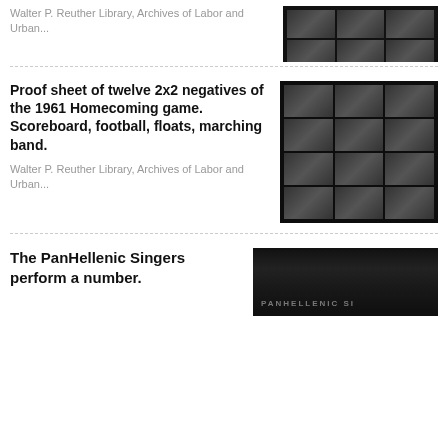Walter P. Reuther Library, Archives of Labor and Urban...
[Figure (photo): Proof sheet of negatives showing outdoor scenes, partial view at top]
Proof sheet of twelve 2x2 negatives of the 1961 Homecoming game. Scoreboard, football, floats, marching band.
Walter P. Reuther Library, Archives of Labor and Urban...
[Figure (photo): Proof sheet of twelve 2x2 negatives arranged in a 3x4 grid showing outdoor football homecoming scenes in black and white]
The PanHellenic Singers perform a number.
[Figure (photo): Black and white photo showing PanHellenic Singers performing, partial view at bottom of page]